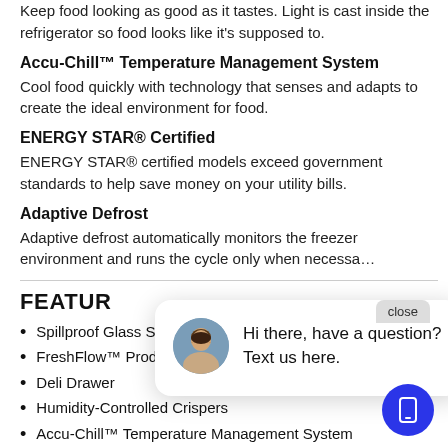Keep food looking as good as it tastes. Light is cast inside the refrigerator so food looks like it's supposed to.
Accu-Chill™ Temperature Management System
Cool food quickly with technology that senses and adapts to create the ideal environment for food.
ENERGY STAR® Certified
ENERGY STAR® certified models exceed government standards to help save money on your utility bills.
Adaptive Defrost
Adaptive defrost automatically monitors the freezer environment and runs the cycle only when necessa…
[Figure (other): Chat popup with avatar photo of a woman and text: Hi there, have a question? Text us here. Also a close button and a blue mobile chat button.]
FEATURES
Spillproof Glass Shelves
FreshFlow™ Produce Preserver
Deli Drawer
Humidity-Controlled Crispers
Accu-Chill™ Temperature Management System